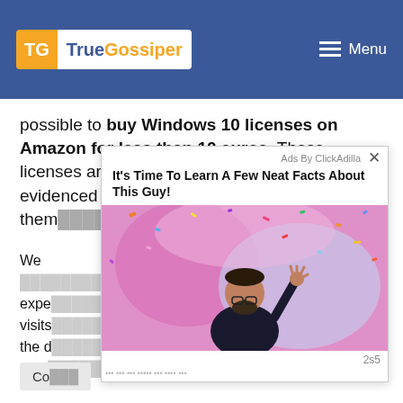TrueGossiper — Menu
possible to buy Windows 10 licenses on Amazon for less than 10 euros. These licenses are LEGAL and ORIGINAL as evidenced by the man...ht them...
We ...want expe... visits... .LL the d... prov...
[Figure (photo): Advertisement overlay from ClickAdilla showing a man waving with confetti in the background. Headline: It's Time To Learn A Few Neat Facts About This Guy!]
Co...